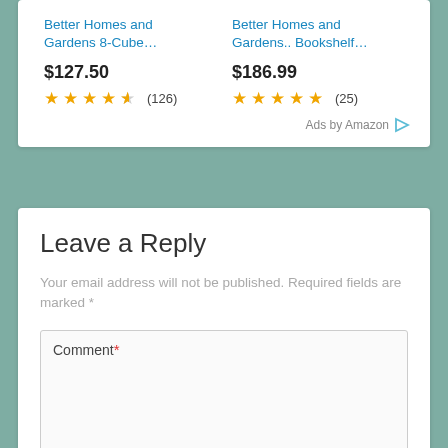Better Homes and Gardens 8-Cube…
Better Homes and Gardens.. Bookshelf…
$127.50
★★★★½ (126)
$186.99
★★★★★ (25)
Ads by Amazon
Leave a Reply
Your email address will not be published. Required fields are marked *
Comment *